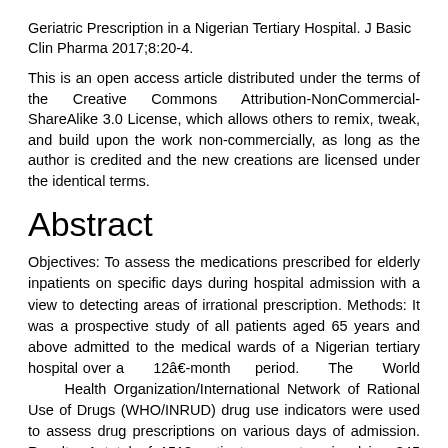Geriatric Prescription in a Nigerian Tertiary Hospital. J Basic Clin Pharma 2017;8:20-4.
This is an open access article distributed under the terms of the Creative Commons Attribution-NonCommercial-ShareAlike 3.0 License, which allows others to remix, tweak, and build upon the work non-commercially, as long as the author is credited and the new creations are licensed under the identical terms.
Abstract
Objectives: To assess the medications prescribed for elderly inpatients on specific days during hospital admission with a view to detecting areas of irrational prescription. Methods: It was a prospective study of all patients aged 65 years and above admitted to the medical wards of a Nigerian tertiary hospital over a 12â€‑month period. The World Health Organization/International Network of Rational Use of Drugs (WHO/INRUD) drug use indicators were used to assess drug prescriptions on various days of admission. Results: A total of 1513 patient encounters involving 345 patients aged between 65